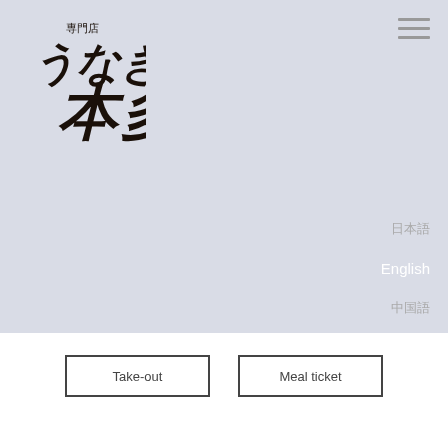[Figure (logo): Japanese restaurant logo for 専門店うなぎ本多 (Unagi Honda specialty restaurant) with calligraphic brush lettering in dark brown/black]
[Figure (other): Hamburger menu icon (three horizontal lines) in top-right corner]
日本語
English
中国語
Take-out
Meal ticket